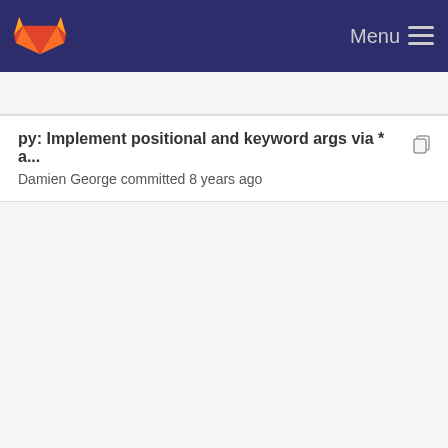GitLab — Menu
py: Implement positional and keyword args via * a... Damien George committed 8 years ago
runtime: Typo fixes in comments. Paul Sokolovsky committed 7 years ago
py: Implement positional and keyword args via * a... Damien George committed 8 years ago